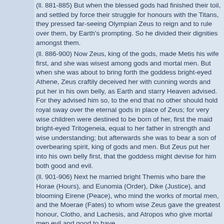(ll. 881-885) But when the blessed gods had finished their toil, and settled by force their struggle for honours with the Titans, they pressed far-seeing Olympian Zeus to reign and to rule over them, by Earth's prompting. So he divided their dignities amongst them.
(ll. 886-900) Now Zeus, king of the gods, made Metis his wife first, and she was wisest among gods and mortal men. But when she was about to bring forth the goddess bright-eyed Athene, Zeus craftily deceived her with cunning words and put her in his own belly, as Earth and starry Heaven advised. For they advised him so, to the end that no other should hold royal sway over the eternal gods in place of Zeus; for very wise children were destined to be born of her, first the maid bright-eyed Tritogeneia, equal to her father in strength and wise understanding; but afterwards she was to bear a son of overbearing spirit, king of gods and men. But Zeus put her into his own belly first, that the goddess might devise for him both good and evil.
(ll. 901-906) Next he married bright Themis who bare the Horae (Hours), and Eunomia (Order), Dike (Justice), and blooming Eirene (Peace), who mind the works of mortal men, and the Moerae (Fates) to whom wise Zeus gave the greatest honour, Clotho, and Lachesis, and Atropos who give mortal men evil and good to have.
(ll. 907-911) And Eurynome, the daughter of Ocean, beautiful in form, bare him three fair-cheeked Charites (Graces),